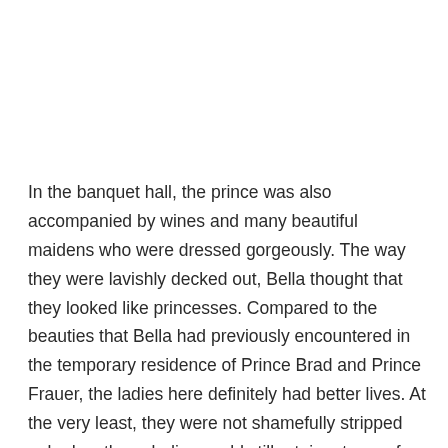In the banquet hall, the prince was also accompanied by wines and many beautiful maidens who were dressed gorgeously. The way they were lavishly decked out, Bella thought that they looked like princesses. Compared to the beauties that Bella had previously encountered in the temporary residence of Prince Brad and Prince Frauer, the ladies here definitely had better lives. At the very least, they were not shamefully stripped naked as these ladies could still retain a trace of their dignity.